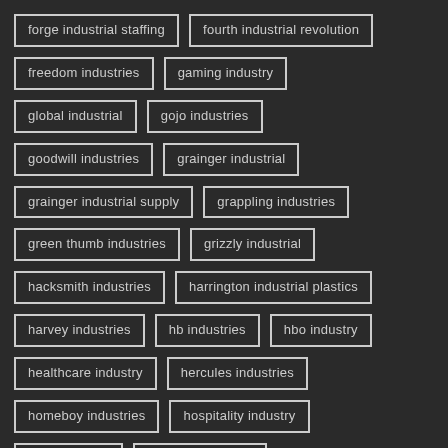forge industrial staffing
fourth industrial revolution
freedom industries
gaming industry
global industrial
gojo industries
goodwill industries
grainger industrial
grainger industrial supply
grappling industries
green thumb industries
grizzly industrial
hacksmith industries
harrington industrial plastics
harvey industries
hb industries
hbo industry
healthcare industry
hercules industries
homeboy industries
hospitality industry
hotel industry
howard industries